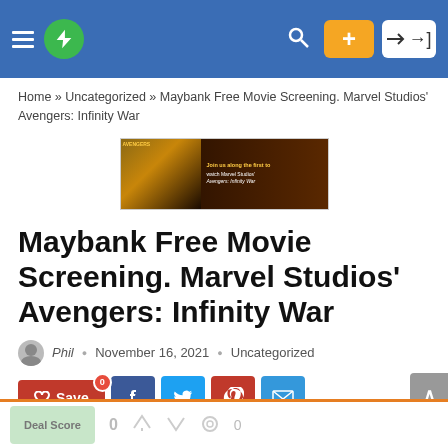Navigation header with logo, search, plus button, and login button
Home » Uncategorized » Maybank Free Movie Screening. Marvel Studios' Avengers: Infinity War
[Figure (photo): Advertisement banner for Avengers: Infinity War movie screening]
Maybank Free Movie Screening. Marvel Studios' Avengers: Infinity War
Phil · November 16, 2021 · Uncategorized
Save 0 · Facebook share · Twitter share · Pinterest share · Email share
Deal Score 0